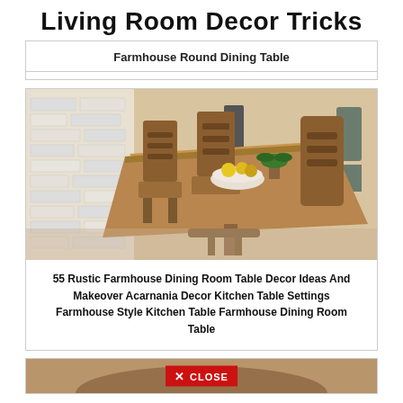Living Room Decor Tricks
Farmhouse Round Dining Table
[Figure (photo): A rustic farmhouse rectangular dining table with wooden ladder-back chairs, set with a bowl of fruit and a potted plant centerpiece, against a white brick wall background.]
55 Rustic Farmhouse Dining Room Table Decor Ideas And Makeover Acarnania Decor Kitchen Table Settings Farmhouse Style Kitchen Table Farmhouse Dining Room Table
[Figure (photo): Partial view of a round farmhouse dining table, with a red CLOSE button overlaid in the center.]